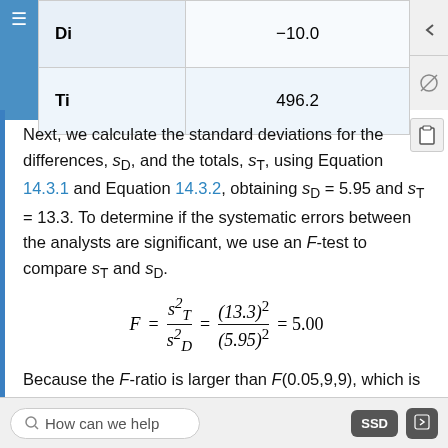|  |  |
| --- | --- |
| Di | −10.0 |
| Ti | 496.2 |
Next, we calculate the standard deviations for the differences, sD, and the totals, sT, using Equation 14.3.1 and Equation 14.3.2, obtaining sD = 5.95 and sT = 13.3. To determine if the systematic errors between the analysts are significant, we use an F-test to compare sT and sD.
Because the F-ratio is larger than F(0.05,9,9), which is 3.179, we conclude that the systematic errors between the analysts are significant at the